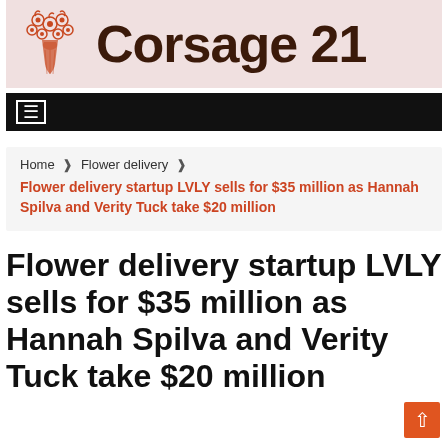[Figure (logo): Corsage 21 website logo with decorative flower/bouquet illustration in orange/red on pink background with bold dark brown site name text]
Home  ❯  Flower delivery  ❯
Flower delivery startup LVLY sells for $35 million as Hannah Spilva and Verity Tuck take $20 million
Flower delivery startup LVLY sells for $35 million as Hannah Spilva and Verity Tuck take $20 million